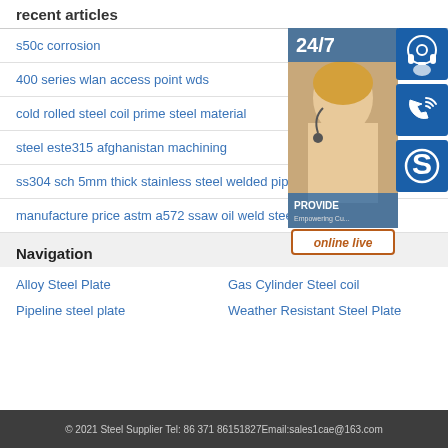recent articles
s50c corrosion
400 series wlan access point wds
cold rolled steel coil prime steel material
steel este315 afghanistan machining
ss304 sch 5mm thick stainless steel welded pip…
manufacture price astm a572 ssaw oil weld stee…
[Figure (illustration): Customer service widget showing a woman with headset, 24/7 support icons (headset, phone, Skype), PROVIDE Empowering Customers text, and online live button]
Navigation
Alloy Steel Plate
Gas Cylinder Steel coil
Pipeline steel plate
Weather Resistant Steel Plate
© 2021 Steel Supplier Tel: 86 371 86151827Email:sales1cae@163.com